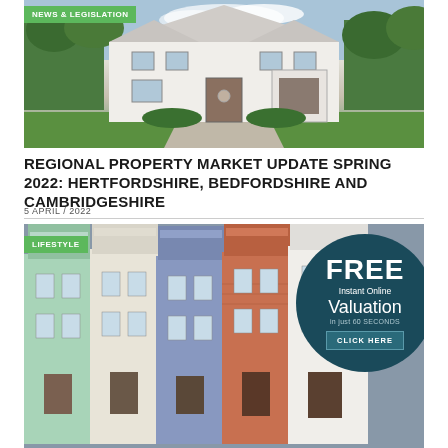[Figure (photo): Exterior photo of a large white detached house with gravel driveway, green hedges and trees, viewed from the front.]
NEWS & LEGISLATION
REGIONAL PROPERTY MARKET UPDATE SPRING 2022: HERTFORDSHIRE, BEDFORDSHIRE AND CAMBRIDGESHIRE
5 APRIL / 2022
[Figure (photo): Photo of colourful Victorian terraced houses with LIFESTYLE badge overlay and a dark teal FREE Instant Online Valuation in just 60 SECONDS CLICK HERE promotional circle.]
LIFESTYLE